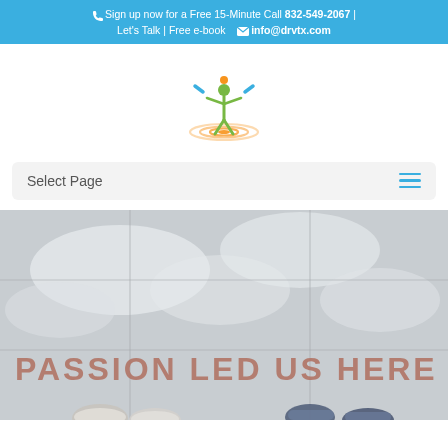📞 Sign up now for a Free 15-Minute Call 832-549-2067 | Let's Talk | Free e-book   ✉ info@drvtx.com
[Figure (logo): Website logo: green stick figure juggling/balancing with orange concentric ripple circles below, representing dynamic resilience or vitality]
Select Page
[Figure (photo): Overhead shot of two people's feet on tiled pavement/sidewalk. The tiles spell out 'PASSION LED US HERE' in large terracotta/brown letters. Sky and clouds are reflected in the light-colored tiles.]